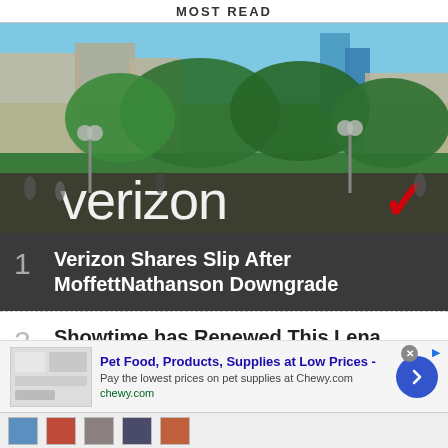MOST READ
[Figure (photo): Outdoor urban park scene with city buildings in background, trees, pedestrians, and large Verizon logo sign with red checkmark]
1 Verizon Shares Slip After MoffettNathanson Downgrade
2 Showtime has Renewed This Lena Waithe-Produced Series
3 Siri's In Touts Early 74% Conversion Rate for...
Pet Food, Products, Supplies at Low Prices - Pay the lowest prices on pet supplies at Chewy.com chewy.com